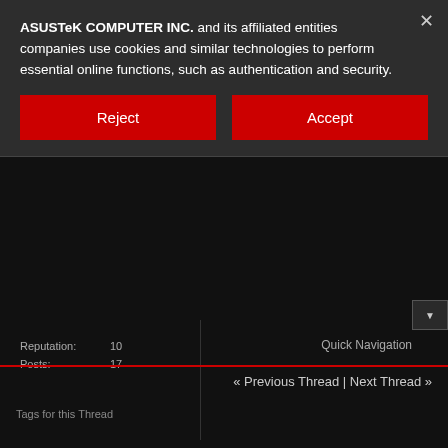ASUSTeK COMPUTER INC. and its affiliated entities companies use cookies and similar technologies to perform essential online functions, such as authentication and security.
Reject
Accept
Reputation:  10
Posts:  17
Quick Navigation
« Previous Thread | Next Thread »
Tags for this Thread